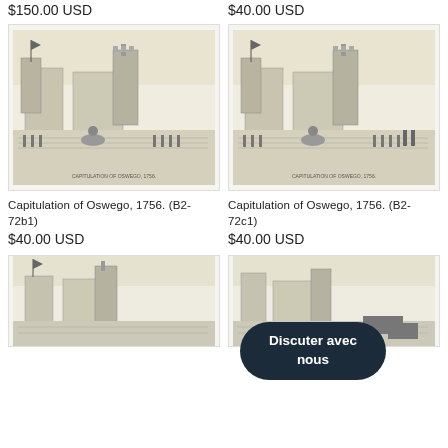$150.00 USD
$40.00 USD
[Figure (illustration): Historical engraving showing Capitulation of Oswego 1756, fort scene with soldiers]
[Figure (illustration): Historical engraving showing Capitulation of Oswego 1756, fort scene with soldiers]
Capitulation of Oswego, 1756. (B2-72b1)
$40.00 USD
Capitulation of Oswego, 1756. (B2-72c1)
$40.00 USD
[Figure (illustration): Historical engraving showing a fort scene, partial view]
[Figure (illustration): Historical engraving of battle/fort scene, partially visible with chat overlay]
Discuter avec nous